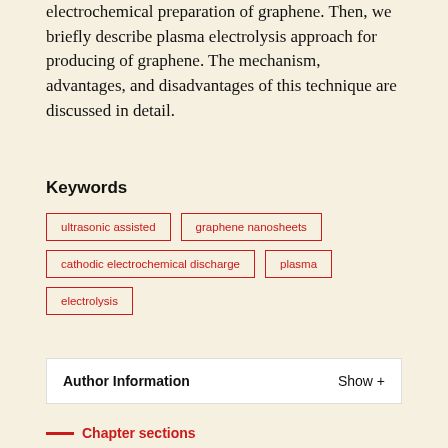electrochemical preparation of graphene. Then, we briefly describe plasma electrolysis approach for producing of graphene. The mechanism, advantages, and disadvantages of this technique are discussed in detail.
Keywords
ultrasonic assisted
graphene nanosheets
cathodic electrochemical discharge
plasma
electrolysis
Author Information    Show +
Chapter sections